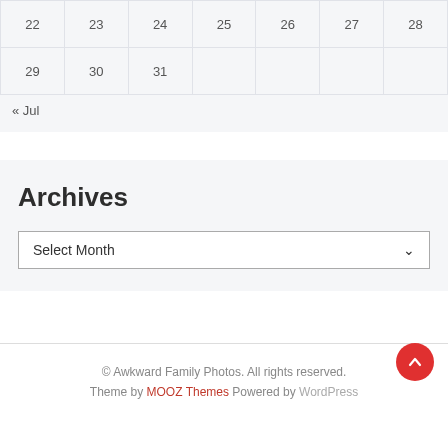| 22 | 23 | 24 | 25 | 26 | 27 | 28 |
| 29 | 30 | 31 |  |  |  |  |
« Jul
Archives
Select Month
© Awkward Family Photos. All rights reserved. Theme by MOOZ Themes Powered by WordPress